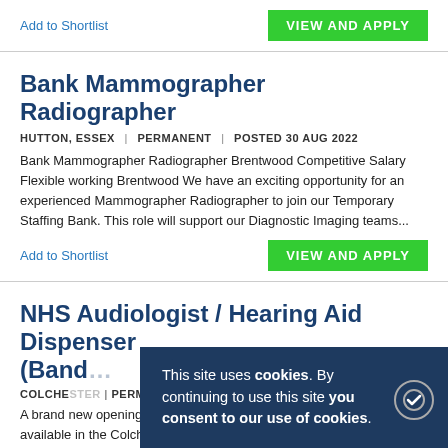Add to Shortlist
VIEW AND APPLY
Bank Mammographer Radiographer
HUTTON, ESSEX | PERMANENT | POSTED 30 AUG 2022
Bank Mammographer Radiographer Brentwood Competitive Salary Flexible working Brentwood We have an exciting opportunity for an experienced Mammographer Radiographer to join our Temporary Staffing Bank. This role will support our Diagnostic Imaging teams...
Add to Shortlist
VIEW AND APPLY
NHS Audiologist / Hearing Aid Dispenser (Band 6)
COLCHESTER | PERMANENT | POSTED MORE 2022
A brand new opening for a NHS Band 6 Audiologist has become available in the Colchester area due to company expansion. This is
This site uses cookies. By continuing to use this site you consent to our use of cookies.